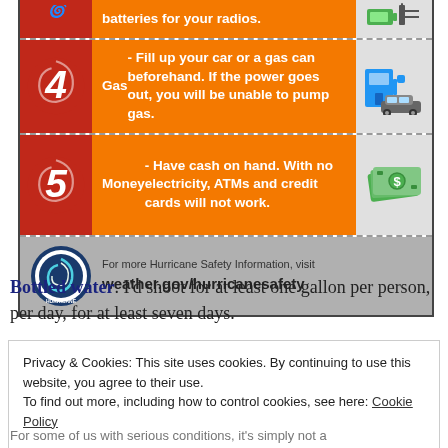[Figure (infographic): Hurricane safety infographic showing items 4 and 5: Gas (fill up your car or a gas can beforehand) and Money (have cash on hand, ATMs will not work), with weather.gov/hurricanesafety footer]
Bottled water. I'd shoot for at least one gallon per person, per day, for at least seven days.
Privacy & Cookies: This site uses cookies. By continuing to use this website, you agree to their use. To find out more, including how to control cookies, see here: Cookie Policy
For some of us with serious conditions, it's simply not a